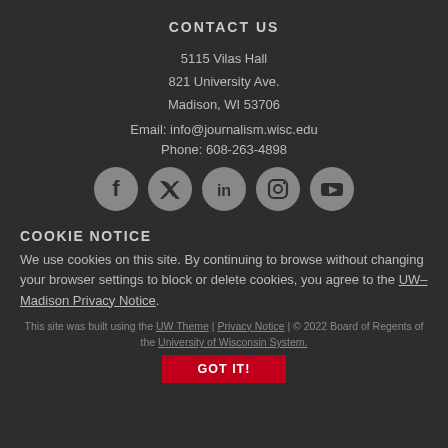CONTACT US
5115 Vilas Hall
821 University Ave.
Madison, WI 53706
Email: info@journalism.wisc.edu
Phone: 608-263-4898
[Figure (infographic): Five social media icon circles: Facebook, Twitter, LinkedIn, Instagram, YouTube]
COOKIE NOTICE
We use cookies on this site. By continuing to browse without changing your browser settings to block or delete cookies, you agree to the UW–Madison Privacy Notice.
This site was built using the UW Theme | Privacy Notice | © 2022 Board of Regents of the University of Wisconsin System.
GOT IT!